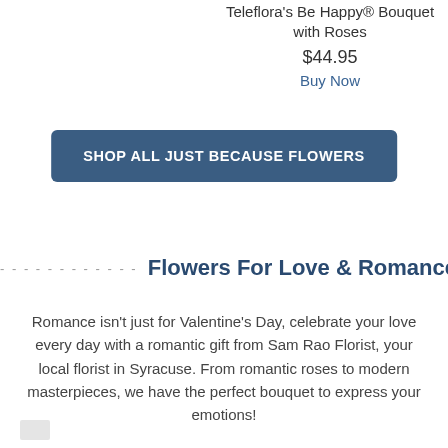Teleflora's Be Happy® Bouquet with Roses
$44.95
Buy Now
SHOP ALL JUST BECAUSE FLOWERS
Flowers For Love & Romance
Romance isn't just for Valentine's Day, celebrate your love every day with a romantic gift from Sam Rao Florist, your local florist in Syracuse. From romantic roses to modern masterpieces, we have the perfect bouquet to express your emotions!